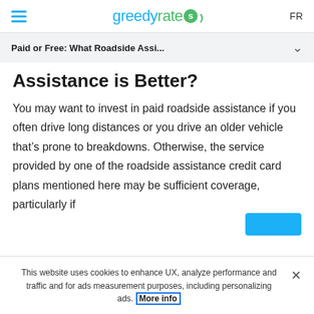greedyrates FR
Paid or Free: What Roadside Assi...
Assistance is Better?
You may want to invest in paid roadside assistance if you often drive long distances or you drive an older vehicle that’s prone to breakdowns. Otherwise, the service provided by one of the roadside assistance credit card plans mentioned here may be sufficient coverage, particularly if
This website uses cookies to enhance UX, analyze performance and traffic and for ads measurement purposes, including personalizing ads. More info